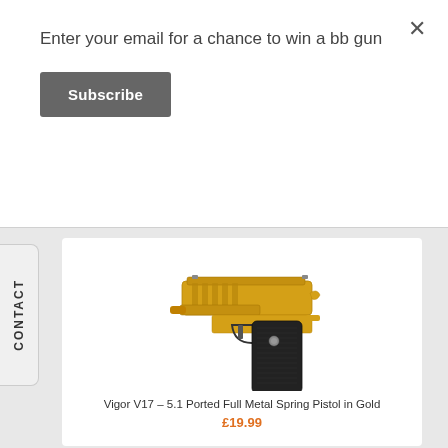Enter your email for a chance to win a bb gun
Subscribe
×
CONTACT
[Figure (photo): Gold and black Vigor V17 5.1 Ported Full Metal Spring Pistol displayed against white background. The pistol has a gold/yellow metallic slide with ported cuts and a black grip/handle.]
Vigor V17 – 5.1 Ported Full Metal Spring Pistol in Gold
£19.99